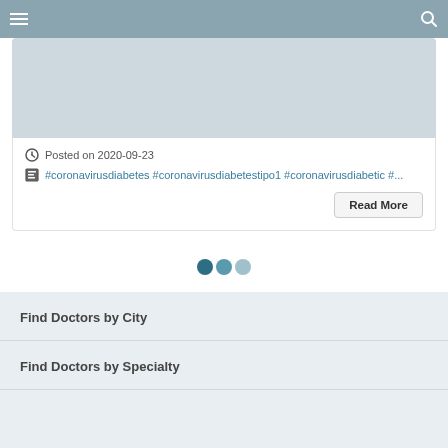[Figure (screenshot): Light blue-gray image placeholder at top of card]
Posted on 2020-09-23
#coronavirusdiabetes #coronavirusdiabetestipo1 #coronavirusdiabetic #...
Read More
[Figure (other): Pagination dots: three circles, first dark teal, second medium teal, third light teal]
Find Doctors by City
Find Doctors by Specialty